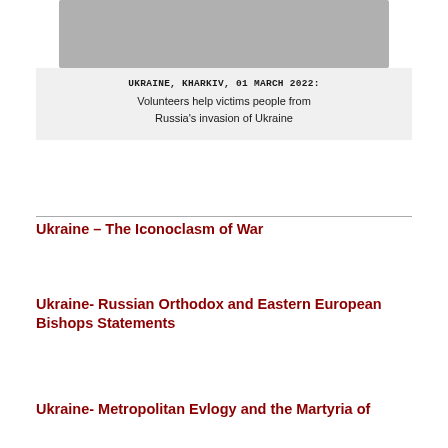[Figure (photo): Grayscale photograph of volunteers helping victims in Kharkiv, Ukraine]
UKRAINE, KHARKIV, 01 MARCH 2022:
Volunteers help victims people from
Russia’s invasion of Ukraine
Ukraine – The Iconoclasm of War
Ukraine- Russian Orthodox and Eastern European Bishops Statements
Ukraine- Metropolitan Evlogy and the Martyria of